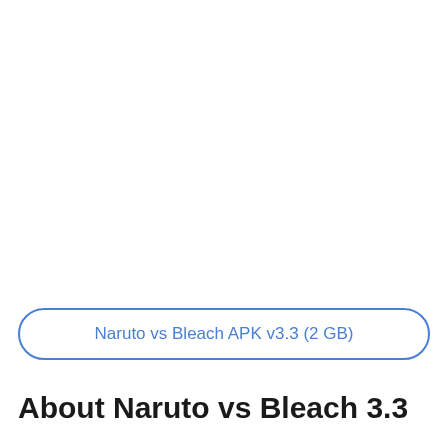Naruto vs Bleach APK v3.3 (2 GB)
About Naruto vs Bleach 3.3